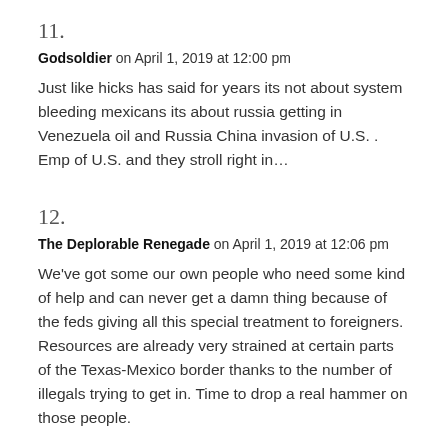11.
Godsoldier on April 1, 2019 at 12:00 pm
Just like hicks has said for years its not about system bleeding mexicans its about russia getting in Venezuela oil and Russia China invasion of U.S. . Emp of U.S. and they stroll right in…
12.
The Deplorable Renegade on April 1, 2019 at 12:06 pm
We've got some our own people who need some kind of help and can never get a damn thing because of the feds giving all this special treatment to foreigners. Resources are already very strained at certain parts of the Texas-Mexico border thanks to the number of illegals trying to get in. Time to drop a real hammer on those people.